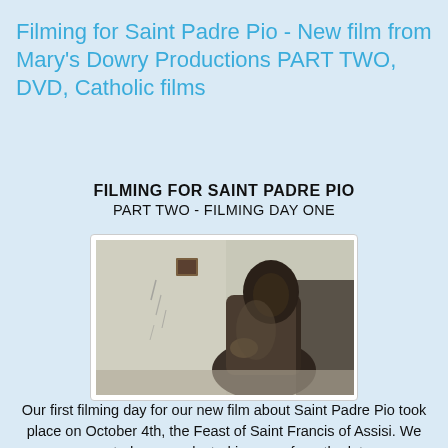Filming for Saint Padre Pio - New film from Mary's Dowry Productions PART TWO, DVD, Catholic films
FILMING FOR SAINT PADRE PIO
PART TWO - FILMING DAY ONE
[Figure (photo): Dark, moody film still showing a robed figure (likely a friar) in a dimly lit room with a white wall and a small framed item on the wall.]
Our first filming day for our new film about Saint Padre Pio took place on October 4th, the Feast of Saint Francis of Assisi. We recreated some selected imagery from the later